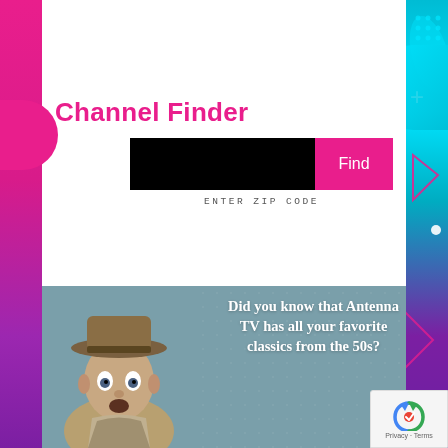Channel Finder
ENTER ZIP CODE
[Figure (screenshot): Screenshot of a Channel Finder web page with a zip code input field (black rectangle) and a pink 'Find' button. Below is an advertisement banner showing a man in a hat with text 'Did you know that Antenna TV has all your favorite classics from the 50s?' on a teal background. Page has pink left sidebar and cyan/purple right sidebar with decorative elements. A reCAPTCHA badge is in the lower right.]